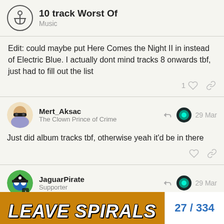10 track Worst Of | Music
Edit: could maybe put Here Comes the Night II in instead of Electric Blue. I actually dont mind tracks 8 onwards tbf, just had to fill out the list
Mert_Aksac | The Clown Prince of Crime | 29 Mar
Just did album tracks tbf, otherwise yeah it'd be in there
JaguarPirate | Supporter | 29 Mar
[Figure (screenshot): Bottom strip showing a meme image with text 'LEAVE SPIRALS' and page navigation showing 27/334]